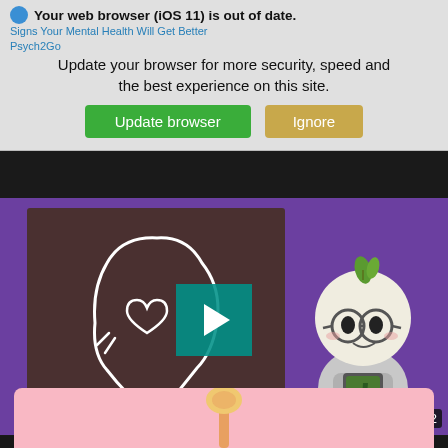Your web browser (iOS 11) is out of date. Update your browser for more security, speed and the best experience on this site.
Signs Your Mental Health Will Get Better
Psych2Go
[Figure (screenshot): Video thumbnail showing a cartoon illustration of a person's head silhouette with a heart inside on a dark brown background, and an animated character on a purple background. There is a teal play button in the center. ALUCATION logo at bottom left and duration 5:02 at bottom right.]
6 Things That Happen When You Find ‘The One’
Psych2Go
[Figure (illustration): Partially visible pink card with illustrated candy or lollipop at the bottom of the page.]